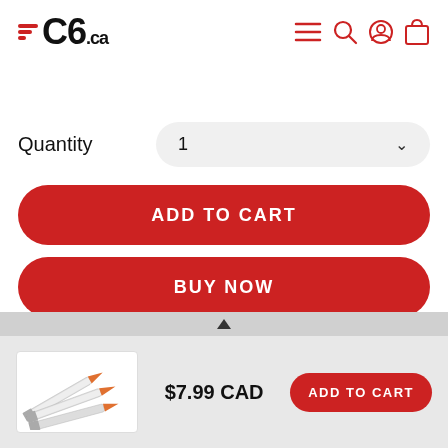C6.ca
Quantity  1
ADD TO CART
BUY NOW
$7.99 CAD
ADD TO CART